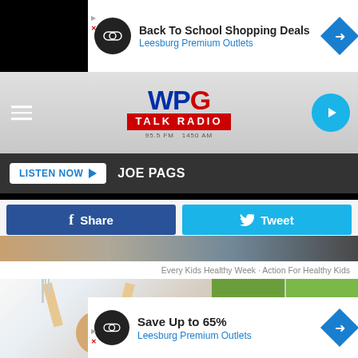[Figure (screenshot): Advertisement banner: Back To School Shopping Deals - Leesburg Premium Outlets]
[Figure (logo): WPG Talk Radio logo with navigation hamburger menu and play button]
LISTEN NOW ▶  JOE PAGS
[Figure (infographic): Share on Facebook and Tweet buttons]
[Figure (photo): Every Kids Healthy Week - Action For Healthy Kids image strip]
Every Kids Healthy Week · Action For Healthy Kids
[Figure (photo): Child holding fork and spoon with arms raised, alongside green outdoor/nature photo grid]
[Figure (screenshot): Advertisement banner: Save Up to 65% - Leesburg Premium Outlets]